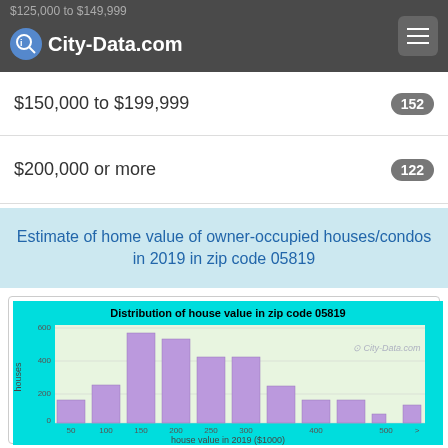City-Data.com
$125,000 to $149,999
$150,000 to $199,999
$200,000 or more
Estimate of home value of owner-occupied houses/condos in 2019 in zip code 05819
[Figure (histogram): Distribution of house value in zip code 05819]